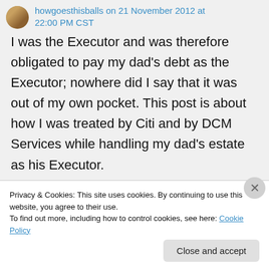howgoesthisballs on 21 November 2012 at 22:00 PM CST
I was the Executor and was therefore obligated to pay my dad's debt as the Executor; nowhere did I say that it was out of my own pocket. This post is about how I was treated by Citi and by DCM Services while handling my dad's estate as his Executor.
Additionally, the Executor can be personally
Privacy & Cookies: This site uses cookies. By continuing to use this website, you agree to their use.
To find out more, including how to control cookies, see here: Cookie Policy